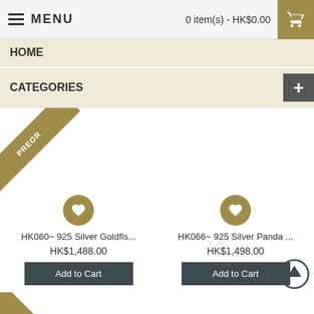MENU   0 item(s) - HK$0.00
HOME
CATEGORIES
[Figure (other): Product listing with PREORDER ribbon banner on top-left corner of first product]
HK060~ 925 Silver Goldfis...
HK$1,488.00
Add to Cart
HK066~ 925 Silver Panda ...
HK$1,498.00
Add to Cart
[Figure (other): Partial ribbon badge visible at bottom-left with text OUT (sold out)]